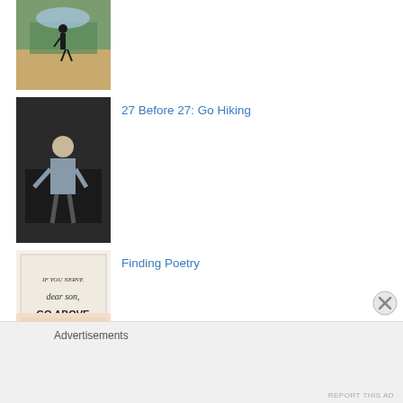[Figure (photo): Person hiking on a hillside with landscape in background]
[Figure (photo): Person outdoors in dark background]
27 Before 27: Go Hiking
[Figure (photo): Book cover with text: IF YOU NERVE DEAR SON GO ABOVE]
Finding Poetry
[Figure (photo): Book cover for Still Writing by Dani Shapiro]
Still Writing: The Perils and Pleasures of a Creative Life by Dani Shapiro
Advertisements